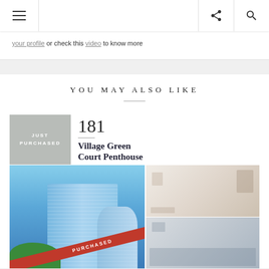Navigation bar with menu, share, and search icons
your profile or check this video to know more
YOU MAY ALSO LIKE
[Figure (photo): Property listing card for 181 Village Green Court Penthouse showing 'JUST PURCHASED' badge, property name, and photo collage of a tall glass condo building with a red 'PURCHASED' diagonal banner, and two interior room photos]